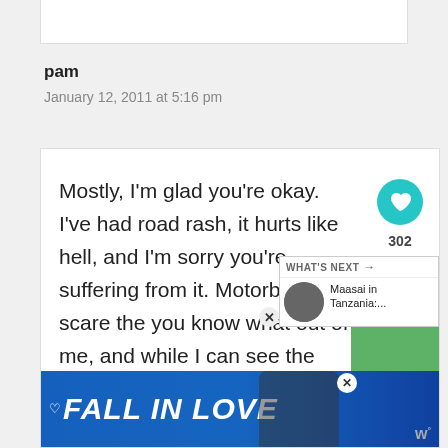pam
January 12, 2011 at 5:16 pm
Mostly, I'm glad you're okay. I've had road rash, it hurts like hell, and I'm sorry you're suffering from it. Motorbikes scare the you know what out of me, and while I can see the appeal, I prefe[r] someone else drive. Also, it's great to t[hat]
[Figure (screenshot): Ad banner at bottom reading FALL IN LOVE with dog image, overlaid UI elements including heart/like button (302), share button, What's Next panel showing Maasai in Tanzania, green overlay box, and X close buttons]